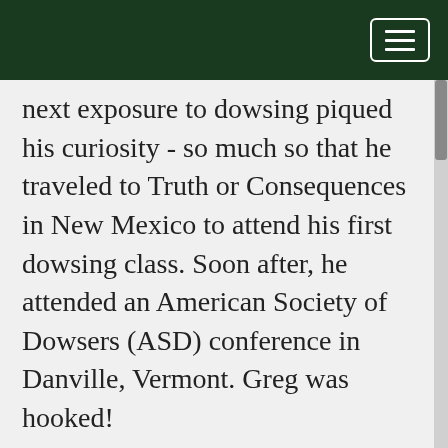next exposure to dowsing piqued his curiosity - so much so that he traveled to Truth or Consequences in New Mexico to attend his first dowsing class. Soon after, he attended an American Society of Dowsers (ASD) conference in Danville, Vermont. Greg was hooked!
Greg became a professional dowser in 1981, and made a good living at it. The following year, Greg and seven good friends founded the Mile High Dowsers chapter of ASD. Serving as chapter president for several years...